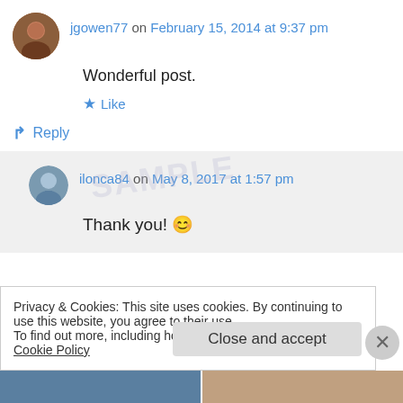jgowen77 on February 15, 2014 at 9:37 pm
Wonderful post.
★ Like
↳ Reply
ilonca84 on May 8, 2017 at 1:57 pm
Thank you! 😊
Privacy & Cookies: This site uses cookies. By continuing to use this website, you agree to their use.
To find out more, including how to control cookies, see here: Cookie Policy
Close and accept